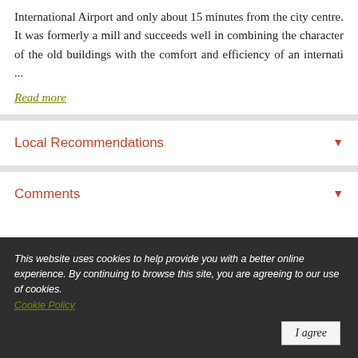International Airport and only about 15 minutes from the city centre. It was formerly a mill and succeeds well in combining the character of the old buildings with the comfort and efficiency of an internati ...
Read more
Local Recommendations
Comments
This website uses cookies to help provide you with a better online experience. By continuing to browse this site, you are agreeing to our use of cookies. Cookie Policy